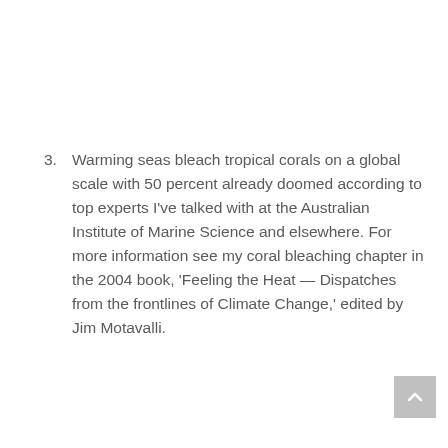3. Warming seas bleach tropical corals on a global scale with 50 percent already doomed according to top experts I've talked with at the Australian Institute of Marine Science and elsewhere. For more information see my coral bleaching chapter in the 2004 book, 'Feeling the Heat — Dispatches from the frontlines of Climate Change,' edited by Jim Motavalli.